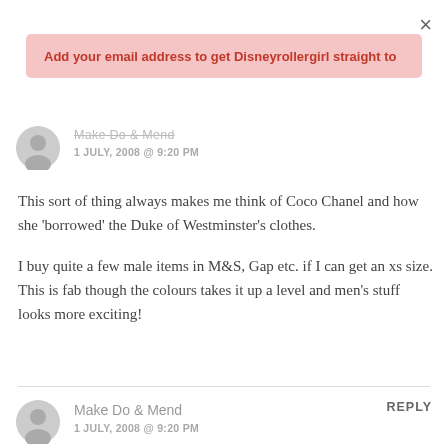×
Add your email address to get Disneyrollergirl straight to
Make Do & Mend
1 JULY, 2008 @ 9:20 PM
This sort of thing always makes me think of Coco Chanel and how she 'borrowed' the Duke of Westminster's clothes.

I buy quite a few male items in M&S, Gap etc. if I can get an xs size. This is fab though the colours takes it up a level and men's stuff looks more exciting!
REPLY
Make Do & Mend
1 JULY, 2008 @ 9:20 PM